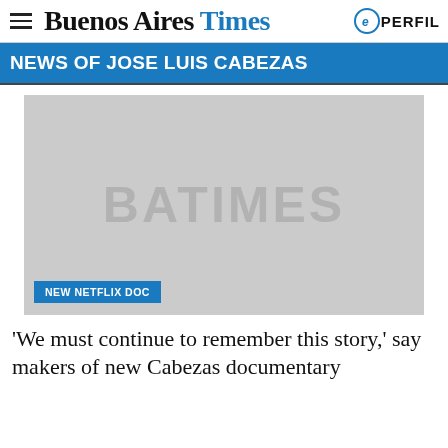PERFIL | Buenos Aires Times
NEWS OF JOSE LUIS CABEZAS
[Figure (photo): Placeholder image with BATIMES watermark, with a 'NEW NETFLIX DOC' badge overlay in blue]
'We must continue to remember this story,' say makers of new Cabezas documentary